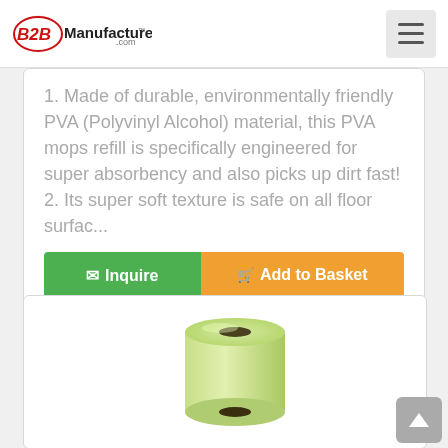B2BManufactures.com
1. Made of durable, environmentally friendly PVA (Polyvinyl Alcohol) material, this PVA mops refill is specifically engineered for super absorbency and also picks up dirt fast!
2. Its super soft texture is safe on all floor surfac...
✉ Inquire   🛒 Add to Basket
[Figure (photo): A pale green cylindrical PVA sponge roller/refill product shown against white background]